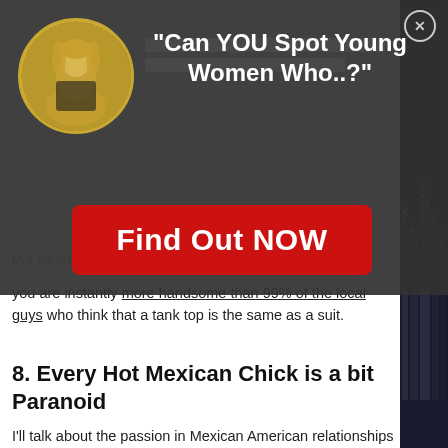[Figure (illustration): Dark modal overlay with circular profile photo of a woman, headline text, and a red call-to-action button on a semi-transparent dark background]
"Can YOU Spot Young Women Who..?"
Find Out NOW
Put on some decent clothes (blue jeans, button-up shirt, and you are instantly more handsome than 99% of the local guys who think that a tank top is the same as a suit.
8. Every Hot Mexican Chick is a bit Paranoid
I'll talk about the passion in Mexican American relationships